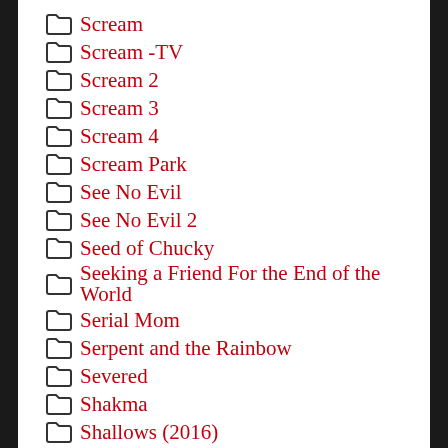Scream
Scream -TV
Scream 2
Scream 3
Scream 4
Scream Park
See No Evil
See No Evil 2
Seed of Chucky
Seeking a Friend For the End of the World
Serial Mom
Serpent and the Rainbow
Severed
Shakma
Shallows (2016)
Shark Night 3D